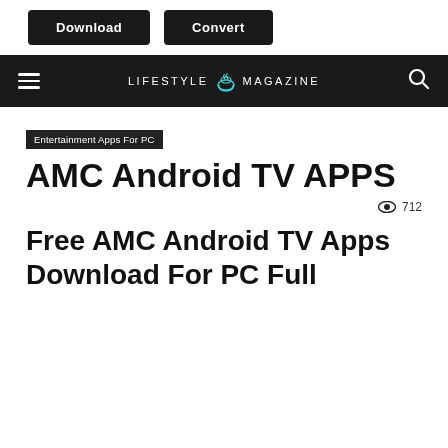[Figure (screenshot): Website header with Download and Convert buttons]
LIFESTYLE MAGAZINE
Entertainment Apps For PC
AMC Android TV APPS
712 views
Free AMC Android TV Apps Download For PC Full